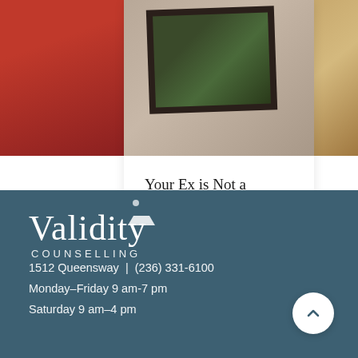[Figure (photo): Carousel card showing a torn photograph with wedding rings on a sandy surface, center card of a three-card slider]
Your Ex is Not a Reliable Source of Info About You
[Figure (other): Carousel navigation dots: one filled dark (active), two light grey (inactive)]
[Figure (logo): Validity Counselling logo in white on teal/dark blue background]
1512 Queensway  |  (236) 331-6100
Monday–Friday 9 am-7 pm
Saturday 9 am–4 pm